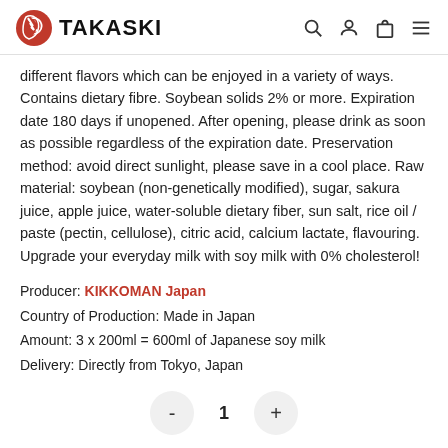TAKASKI
different flavors which can be enjoyed in a variety of ways. Contains dietary fibre. Soybean solids 2% or more. Expiration date 180 days if unopened. After opening, please drink as soon as possible regardless of the expiration date. Preservation method: avoid direct sunlight, please save in a cool place. Raw material: soybean (non-genetically modified), sugar, sakura juice, apple juice, water-soluble dietary fiber, sun salt, rice oil / paste (pectin, cellulose), citric acid, calcium lactate, flavouring. Upgrade your everyday milk with soy milk with 0% cholesterol!
Producer: KIKKOMAN Japan
Country of Production: Made in Japan
Amount: 3 x 200ml = 600ml of Japanese soy milk
Delivery: Directly from Tokyo, Japan